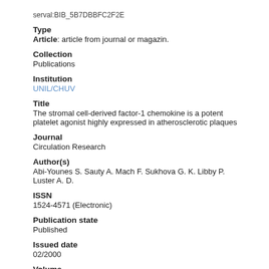serval:BIB_5B7DBBFC2F2E
Type
Article: article from journal or magazin.
Collection
Publications
Institution
UNIL/CHUV
Title
The stromal cell-derived factor-1 chemokine is a potent platelet agonist highly expressed in atherosclerotic plaques
Journal
Circulation Research
Author(s)
Abi-Younes S. Sauty A. Mach F. Sukhova G. K. Libby P. Luster A. D.
ISSN
1524-4571 (Electronic)
Publication state
Published
Issued date
02/2000
Volume
86
Number
2